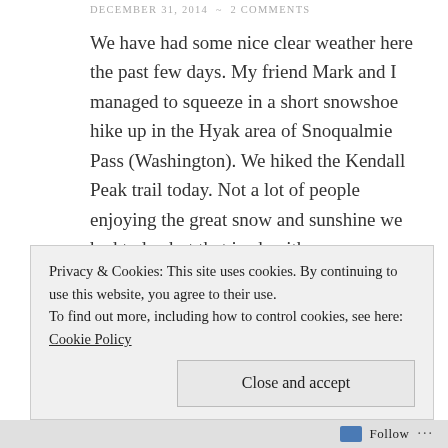DECEMBER 31, 2014 ~ 2 COMMENTS
We have had some nice clear weather here the past few days. My friend Mark and I managed to squeeze in a short snowshoe hike up in the Hyak area of Snoqualmie Pass (Washington). We hiked the Kendall Peak trail today. Not a lot of people enjoying the great snow and sunshine we had today but that is ok with me.
[Figure (photo): Outdoor nature photo showing snow-covered ground with green foliage, branches, and a tree stump in bright sunlight at Snoqualmie Pass.]
Privacy & Cookies: This site uses cookies. By continuing to use this website, you agree to their use.
To find out more, including how to control cookies, see here: Cookie Policy
Close and accept